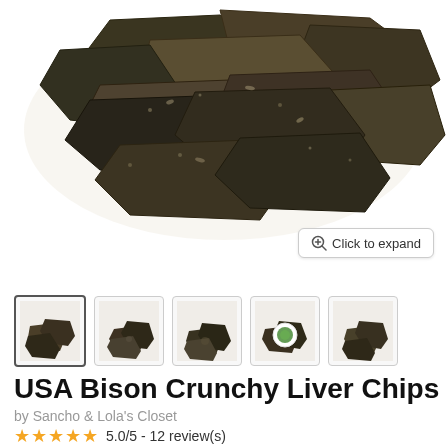[Figure (photo): Dark dried bison liver chips piled on white background, seen from above at angle]
Click to expand
[Figure (photo): Five thumbnail images of bison liver chips product from different angles]
USA Bison Crunchy Liver Chips
by Sancho & Lola's Closet
5.0/5 - 12 review(s)
$16.99